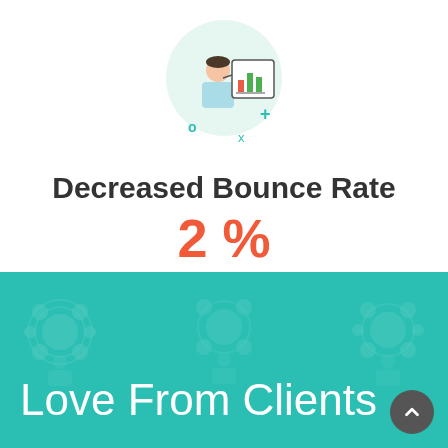[Figure (illustration): Icon of a person (analyst) presenting a bar chart on a board, with a light green circular background and decorative plus, x, and circle symbols around it]
Decreased Bounce Rate
2 %
[Figure (illustration): Teal/green background section with faint watermark icons of people/gear shapes repeated across the background]
Love From Clients